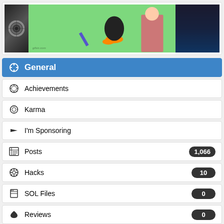[Figure (screenshot): Composite image: left panel shows a circular target/eye graphic on dark background, center panel shows Daffy Duck cartoon on green background with watermark gifsic.com, right panel shows dark blue abstract background]
General
Achievements
Karma
I'm Sponsoring
Posts 1,066
Hacks 10
SOL Files 0
Reviews 0
Votes
Inventory